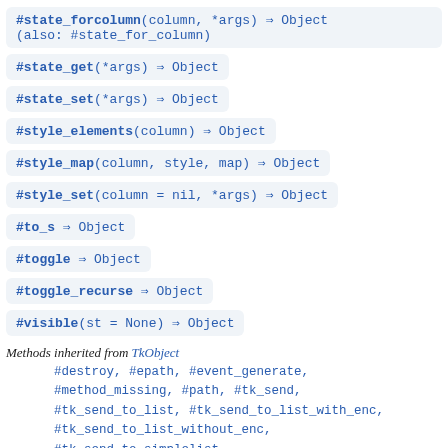#state_forcolumn(column, *args) ⇒ Object (also: #state_for_column)
#state_get(*args) ⇒ Object
#state_set(*args) ⇒ Object
#style_elements(column) ⇒ Object
#style_map(column, style, map) ⇒ Object
#style_set(column = nil, *args) ⇒ Object
#to_s ⇒ Object
#toggle ⇒ Object
#toggle_recurse ⇒ Object
#visible(st = None) ⇒ Object
Methods inherited from TkObject
#destroy, #epath, #event_generate, #method_missing, #path, #tk_send, #tk_send_to_list, #tk_send_to_list_with_enc, #tk_send_to_list_without_enc, #tk_send_to_simplelist, #tk_send_to_simplelist_with_enc